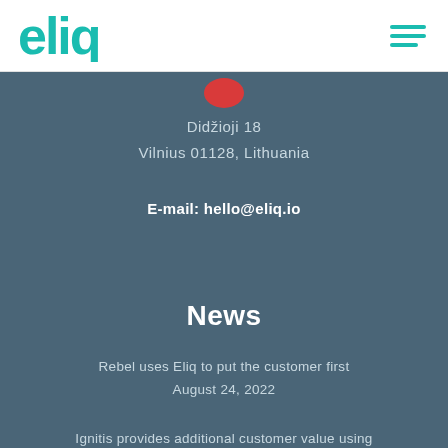[Figure (logo): Eliq logo in teal/cyan color]
[Figure (illustration): Hamburger menu icon with three teal horizontal lines]
[Figure (illustration): Red map pin partially visible at top of dark section]
Didžioji 18
Vilnius 01128, Lithuania
E-mail: hello@eliq.io
News
Rebel uses Eliq to put the customer first
August 24, 2022
Ignitis provides additional customer value using Eliq